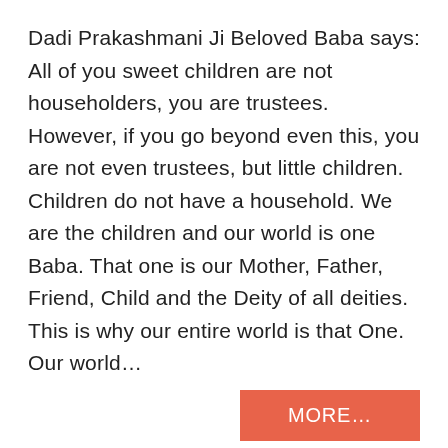Dadi Prakashmani Ji Beloved Baba says: All of you sweet children are not householders, you are trustees. However, if you go beyond even this, you are not even trustees, but little children. Children do not have a household. We are the children and our world is one Baba. That one is our Mother, Father, Friend, Child and the Deity of all deities. This is why our entire world is that One. Our world…
MORE...
Posted in blog   Tagged categorized, Foodforthesoul, News